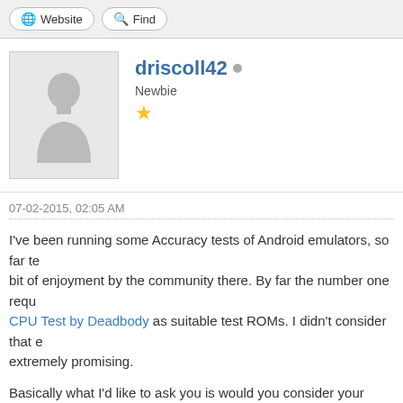Website  Find
[Figure (illustration): Default user avatar silhouette (grey background with person outline)]
driscoll42
Newbie
★
07-02-2015, 02:05 AM
I've been running some Accuracy tests of Android emulators, so far te... bit of enjoyment by the community there. By far the number one requ... CPU Test by Deadbody as suitable test ROMs. I didn't consider that e... extremely promising.
Basically what I'd like to ask you is would you consider your tests plu... accuracy? Or should I hold off until there are further tests I find/you e...
Android GB/GBC Emulator Accuracy Testing Results
Android NES Emulator Accuracy Testing Results
Android SNES Emulator Accuracy Testing Results
Android GENS Emulator Accuracy Testing Results